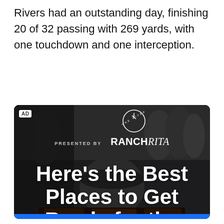Rivers had an outstanding day, finishing 20 of 32 passing with 269 yards, with one touchdown and one interception.
[Figure (photo): Advertisement banner for Ranch Rita. Shows a dark background with people at what appears to an outdoor BBQ/tailgate event. Features a large Weber-style grill kettle in the foreground with grilled meat on a grate at the bottom. A logo for 'Lone River' brand is at the top center. Text reads 'PRESENTED BY RANCH Rita'. Large white bold headline text reads 'Here's the Best Places to Get Ready for the Biggest NFL Games'.]